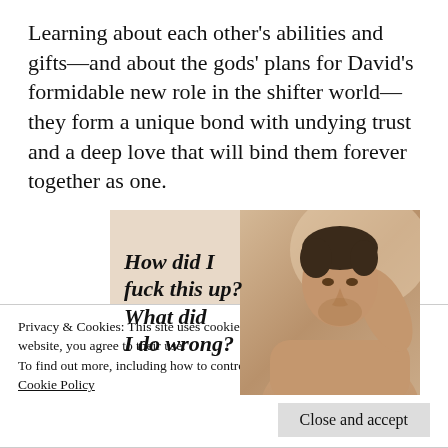Learning about each other's abilities and gifts—and about the gods' plans for David's formidable new role in the shifter world—they form a unique bond with undying trust and a deep love that will bind them forever together as one.
[Figure (photo): Book cover image with italic bold text 'How did I fuck this up? What did I do wrong?' overlaid on a photo of a shirtless man with dark hair.]
Privacy & Cookies: This site uses cookies. By continuing to use this website, you agree to their use.
To find out more, including how to control cookies, see here: Cookie Policy
Close and accept